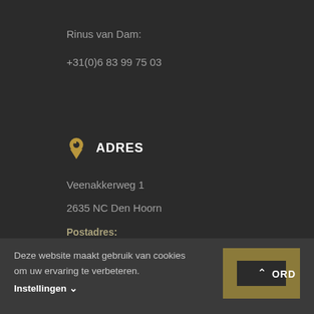Rinus van Dam:
+31(0)6 83 99 75 03
ADRES
Veenakkerweg 1
2635 NC Den Hoorn
Postadres:
Deze website maakt gebruik van cookies om uw ervaring te verbeteren.
Instellingen ∨
AKKOORD